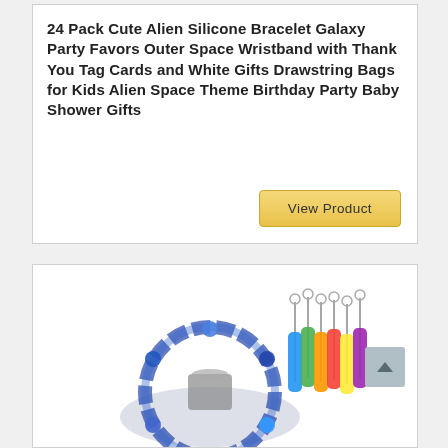24 Pack Cute Alien Silicone Bracelet Galaxy Party Favors Outer Space Wristband with Thank You Tag Cards and White Gifts Drawstring Bags for Kids Alien Space Theme Birthday Party Baby Shower Gifts
[Figure (other): Yellow 'View Product' button]
[Figure (photo): Product photo showing alien-themed silicone bracelets arranged in a circle and colorful keychains/party favors on the right side]